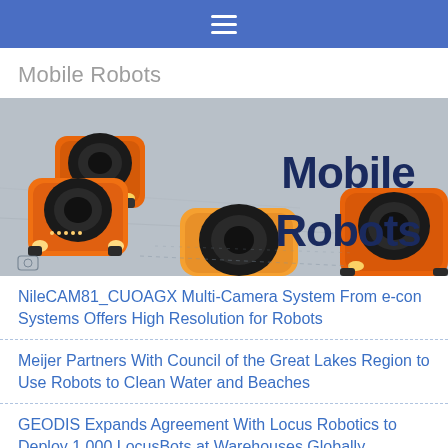≡
Mobile Robots
[Figure (photo): Orange mobile robots on a warehouse floor with text overlay reading 'Mobile Robots']
NileCAM81_CUOAGX Multi-Camera System From e-con Systems Offers High Resolution for Robots
Meijer Partners With Council of the Great Lakes Region to Use Robots to Clean Water and Beaches
GEODIS Expands Agreement With Locus Robotics to Deploy 1,000 LocusBots at Warehouses Globally
Yale Materials Handling Keeps Tight Focus on